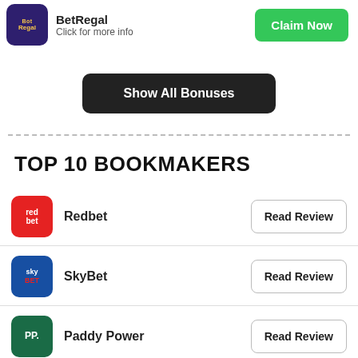[Figure (logo): BetRegal logo - purple background with BetRegal text]
BetRegal
Click for more info
Claim Now
Show All Bonuses
TOP 10 BOOKMAKERS
[Figure (logo): Redbet logo - red background with red/bet text]
Redbet
Read Review
[Figure (logo): SkyBet logo - blue background with sky BET text]
SkyBet
Read Review
[Figure (logo): Paddy Power logo - green background with PP. text]
Paddy Power
Read Review